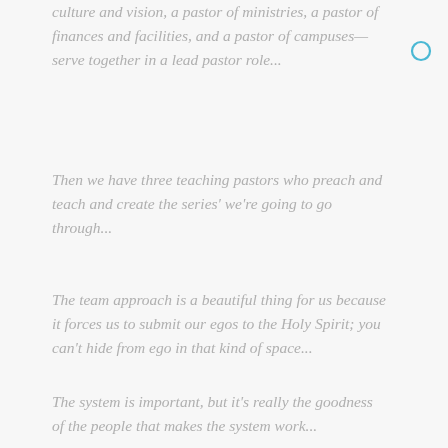culture and vision, a pastor of ministries, a pastor of finances and facilities, and a pastor of campuses—serve together in a lead pastor role...
Then we have three teaching pastors who preach and teach and create the series' we're going to go through...
The team approach is a beautiful thing for us because it forces us to submit our egos to the Holy Spirit; you can't hide from ego in that kind of space...
The system is important, but it's really the goodness of the people that makes the system work...